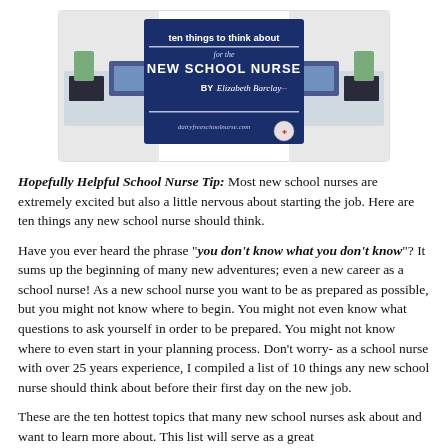[Figure (illustration): Banner image for 'ten things to think about for the NEW SCHOOL NURSE BY Elizabeth Barclay' with a dark blue center panel and decorative office/desk background on left and right sides, plus a small logo and website URL at bottom.]
Hopefully Helpful School Nurse Tip: Most new school nurses are extremely excited but also a little nervous about starting the job. Here are ten things any new school nurse should think.
Have you ever heard the phrase "you don't know what you don't know"? It sums up the beginning of many new adventures; even a new career as a school nurse!  As a new school nurse you want to be as prepared as possible, but you might not know where to begin. You might not even know what questions to ask yourself in order to be prepared. You might not know where to even start in your planning process. Don't worry- as a school nurse with over 25 years experience, I compiled a list of 10 things any new school nurse should think about before their first day on the new job.
These are the ten hottest topics that many new school nurses ask about and want to learn more about.  This list will serve as a great